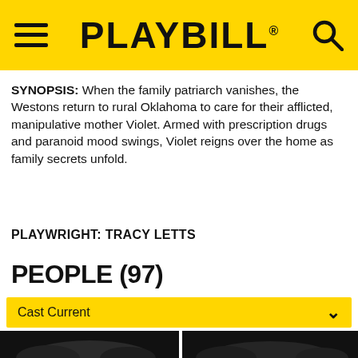PLAYBILL
SYNOPSIS: When the family patriarch vanishes, the Westons return to rural Oklahoma to care for their afflicted, manipulative mother Violet. Armed with prescription drugs and paranoid mood swings, Violet reigns over the home as family secrets unfold.
PLAYWRIGHT: TRACY LETTS
PEOPLE (97)
Cast Current
[Figure (photo): Two black-and-white actor headshots side by side, partially cropped, with a Come From Away advertisement banner overlaid at the bottom]